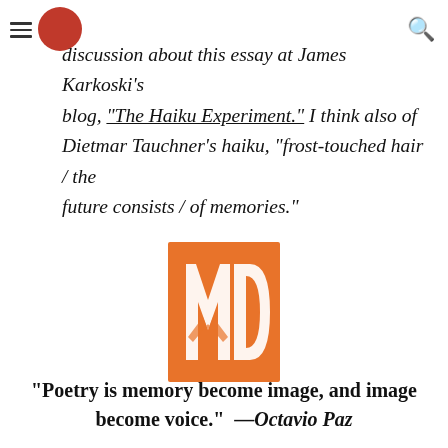discussion about this essay at James Karkoski's blog, "The Haiku Experiment."
discussion about this essay at James Karkoski's blog, "The Haiku Experiment." I think also of Dietmar Tauchner's haiku, "frost-touched hair / the future consists / of memories."
[Figure (logo): An orange square logo with stylized letter forms (M, D, W) in white, resembling an abstract haiku or literary journal logo.]
"Poetry is memory become image, and image become voice." —Octavio Paz